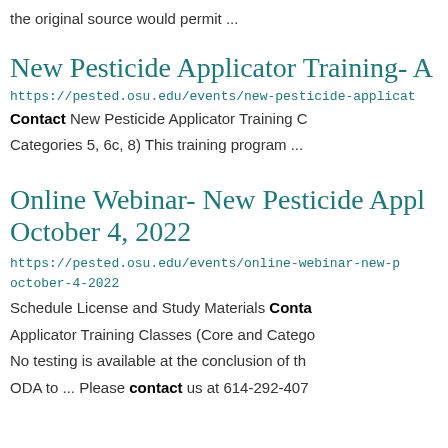the original source would permit ...
New Pesticide Applicator Training- A
https://pested.osu.edu/events/new-pesticide-applicat
Contact New Pesticide Applicator Training C
Categories 5, 6c, 8) This training program ...
Online Webinar- New Pesticide Appl October 4, 2022
https://pested.osu.edu/events/online-webinar-new-p october-4-2022
Schedule License and Study Materials Contact
Applicator Training Classes (Core and Catego
No testing is available at the conclusion of th
ODA to ... Please contact us at 614-292-407